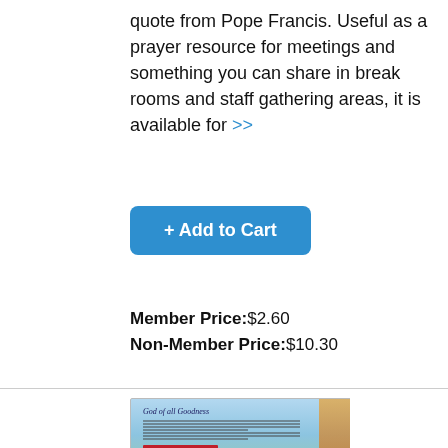quote from Pope Francis. Useful as a prayer resource for meetings and something you can share in break rooms and staff gathering areas, it is available for >>
+ Add to Cart
Member Price:$2.60
Non-Member Price:$10.30
[Figure (illustration): Thumbnail image of a prayer card titled 'God of all Goodness' with decorative floral borders and text, with a CHA logo at the bottom.]